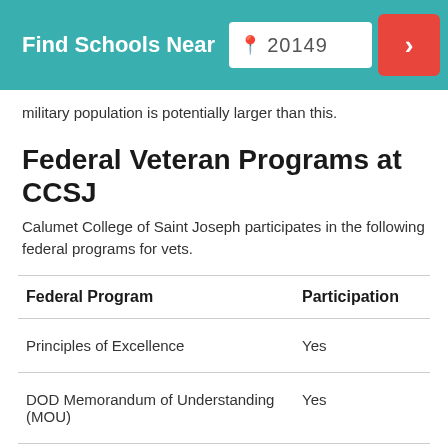Find Schools Near 20149
military population is potentially larger than this.
Federal Veteran Programs at CCSJ
Calumet College of Saint Joseph participates in the following federal programs for vets.
| Federal Program | Participation |
| --- | --- |
| Principles of Excellence | Yes |
| DOD Memorandum of Understanding (MOU) | Yes |